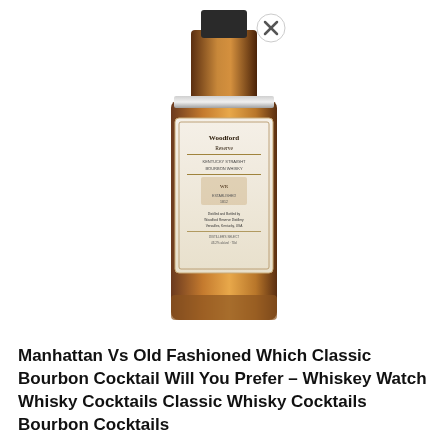[Figure (photo): Back of a whiskey bottle with label text and a close-up view showing bottle details, with an X/close icon overlay in the top-right area]
Manhattan Vs Old Fashioned Which Classic Bourbon Cocktail Will You Prefer – Whiskey Watch Whisky Cocktails Classic Whisky Cocktails Bourbon Cocktails
[Figure (photo): Dark atmospheric photo of cocktail mixing tools (bar spoon) resting on a cocktail glass against a dark background, with an X/close icon overlay]